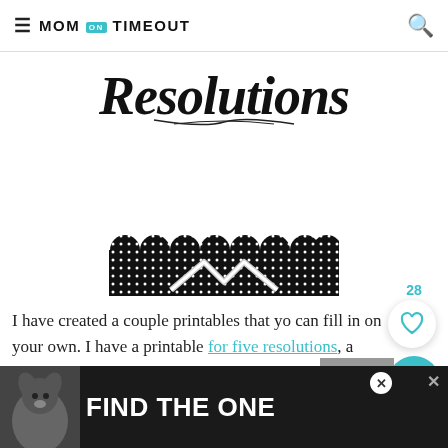MOM ON TIMEOUT
Resolutions
[Figure (illustration): Decorative black polka-dot scalloped banner with chevron/arrow pattern in center]
I have created a couple printables that you can fill in on your own. I have a printable for five resolutions, a printable for ten resolutions, and a
[Figure (screenshot): Advertisement banner: dog image with text FIND THE ONE with close buttons]
[Figure (other): Gray thumbnail with upward arrow]
[Figure (other): Heart/like icon with count 28 and teal search button]